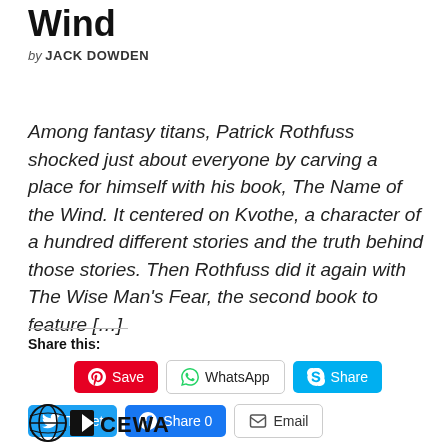Wind
by JACK DOWDEN
Among fantasy titans, Patrick Rothfuss shocked just about everyone by carving a place for himself with his book, The Name of the Wind. It centered on Kvothe, a character of a hundred different stories and the truth behind those stories. Then Rothfuss did it again with The Wise Man's Fear, the second book to feature […]
Share this:
[Figure (other): Social share buttons: Save (Pinterest), WhatsApp, Share (Skype), Tweet (Twitter), Share 0 (Facebook), Email]